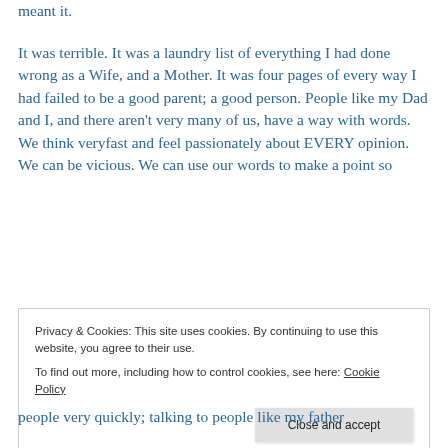meant it.
It was terrible. It was a laundry list of everything I had done wrong as a Wife, and a Mother. It was four pages of every way I had failed to be a good parent; a good person. People like my Dad and I, and there aren't very many of us, have a way with words. We think veryfast and feel passionately about EVERY opinion. We can be vicious. We can use our words to make a point so
Privacy & Cookies: This site uses cookies. By continuing to use this website, you agree to their use.
To find out more, including how to control cookies, see here: Cookie Policy
people very quickly; talking to people like my father